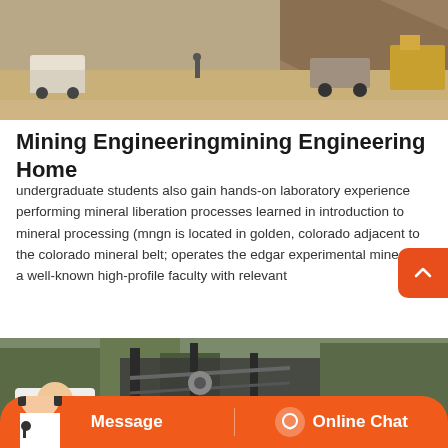[Figure (photo): Mining site with heavy equipment, trucks, and rocky terrain in an open-pit mining area]
Mining Engineeringmining Engineering Home
undergraduate students also gain hands-on laboratory experience performing mineral liberation processes learned in introduction to mineral processing (mngn is located in golden, colorado adjacent to the colorado mineral belt; operates the edgar experimental mine; has a well-known high-profile faculty with relevant
[Figure (photo): Mining or industrial equipment with machinery and structural elements, outdoor setting with trees in background]
[Figure (other): Customer service chat interface with Message and Online Chat buttons, orange bar with headset-wearing agent icon]